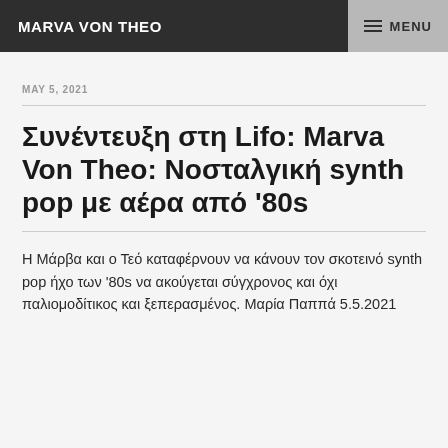MARVA VON THEO | MENU
MAY 5, 2021
Συνέντευξη στη Lifo: Marva Von Theo: Νοσταλγική synth pop με αέρα από '80s
Η Μάρβα και ο Τεό καταφέρνουν να κάνουν τον σκοτεινό synth pop ήχο των '80s να ακούγεται σύγχρονος και όχι παλιομοδίτικος και ξεπερασμένος. Μαρία Παππά 5.5.2021